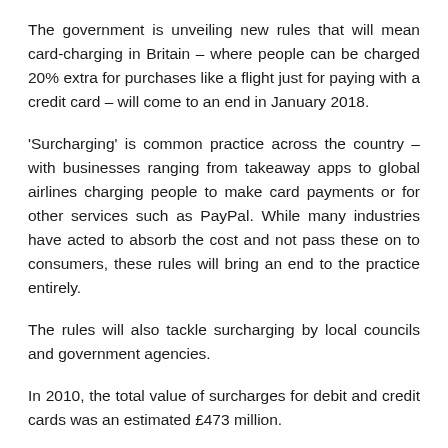The government is unveiling new rules that will mean card-charging in Britain – where people can be charged 20% extra for purchases like a flight just for paying with a credit card – will come to an end in January 2018.
'Surcharging' is common practice across the country – with businesses ranging from takeaway apps to global airlines charging people to make card payments or for other services such as PayPal. While many industries have acted to absorb the cost and not pass these on to consumers, these rules will bring an end to the practice entirely.
The rules will also tackle surcharging by local councils and government agencies.
In 2010, the total value of surcharges for debit and credit cards was an estimated £473 million.
The Economic Secretary to the Treasury, Stephen Barclay, said: